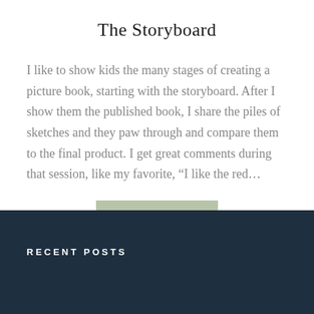The Storyboard
I like to show kids the many stages of creating a picture book, starting with the storyboard. After I show them the published book, I share the piles of sketches and they paw through and compare them to the final product. I get great comments during that session, like my favorite, “I like the red…
READ MORE
RECENT POSTS